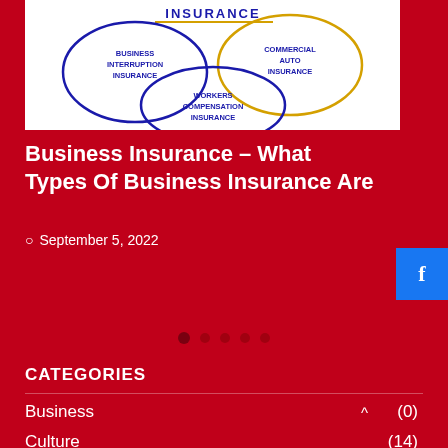[Figure (illustration): Insurance diagram showing overlapping circles labeled: INSURANCE (top center, in blue/gold), BUSINESS INTERRUPTION INSURANCE (left circle, blue outline), COMMERCIAL AUTO INSURANCE (right circle, gold outline), WORKERS COMPENSATION INSURANCE (bottom center circle, blue outline)]
Business Insurance – What Types Of Business Insurance Are
September 5, 2022
CATEGORIES
Business (0)
Culture (14)